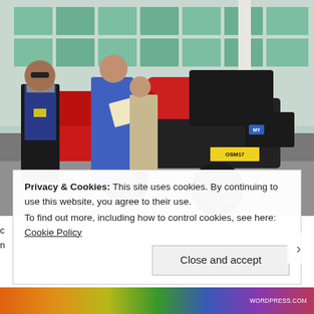[Figure (photo): Outdoor scene with people standing near motorcycles in a parking area outside a building with green-tinted glass windows. One person in a blue suit appears to be showing documents to another person wearing a vest with a yellow badge. Multiple motorcycles including a large touring bike with license plate OSM17 are visible.]
Privacy & Cookies: This site uses cookies. By continuing to use this website, you agree to their use.
To find out more, including how to control cookies, see here: Cookie Policy
Close and accept